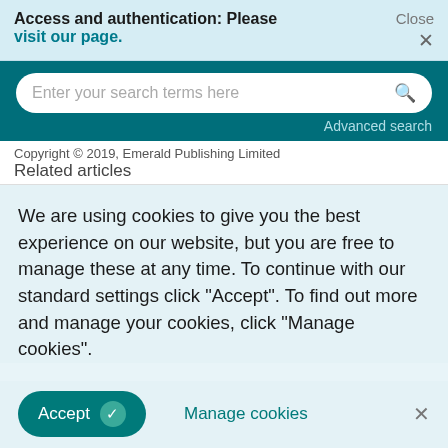Access and authentication: Please visit our page.   Close ×
Enter your search terms here   Advanced search
Copyright © 2019, Emerald Publishing Limited
Related articles
We are using cookies to give you the best experience on our website, but you are free to manage these at any time. To continue with our standard settings click "Accept". To find out more and manage your cookies, click "Manage cookies".
Accept  ✓   Manage cookies   ×
hospitals
Matloub Hussain et al., Journal of Health Organization and Management, 2016